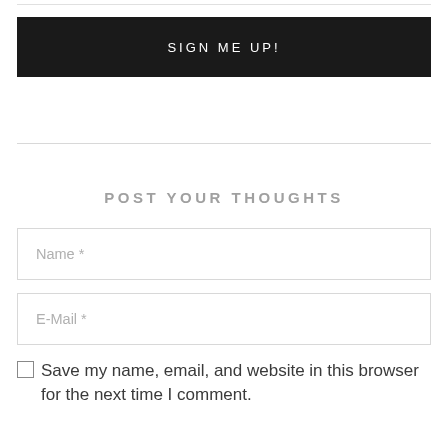SIGN ME UP!
POST YOUR THOUGHTS
Name *
E-Mail *
Save my name, email, and website in this browser for the next time I comment.